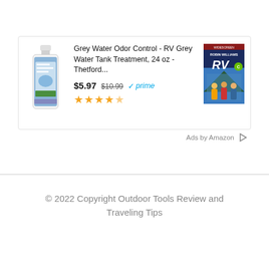[Figure (screenshot): Amazon product ad showing Grey Water Odor Control RV Grey Water Tank Treatment 24oz by Thetford priced at $5.97 (was $10.99) with Prime badge and 4.5 star rating, alongside an RV movie DVD cover image]
Ads by Amazon
© 2022 Copyright Outdoor Tools Review and Traveling Tips